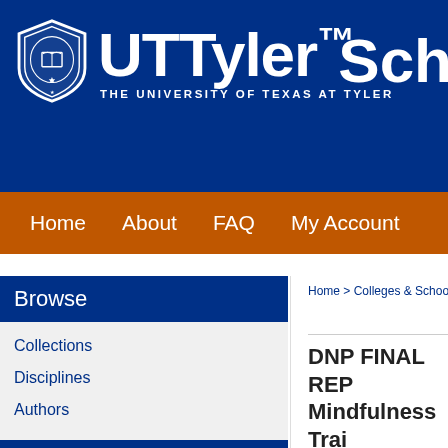[Figure (logo): UT Tyler university logo with shield emblem and text 'THE UNIVERSITY OF TEXAS AT TYLER']
Home  About  FAQ  My Account
Browse
Collections
Disciplines
Authors
Search
Enter search terms:
in this series
Advanced Search
Home > Colleges & Schools > Co
DNP FINAL REP Mindfulness Trai Mindfulness
Denise McNulty